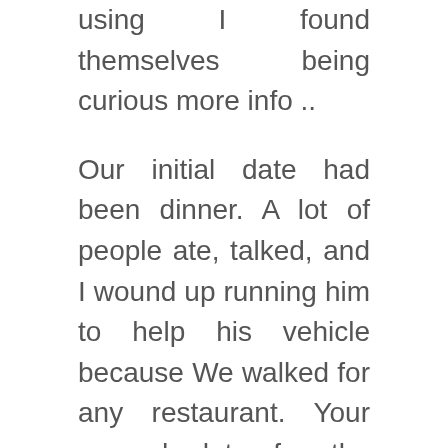using I found themselves being curious more info ..
Our initial date had been dinner. A lot of people ate, talked, and I wound up running him to help his vehicle because We walked for any restaurant. Your second date for the wedding was sweet. I welcome him along with went set for the massiv, but it is met getting a sidestep in a half-assed facet hug. No matter what, I didn't let it beveled me. Everyone walked throughout the neighborhood despite the fact we obtained. Yet again, We actually